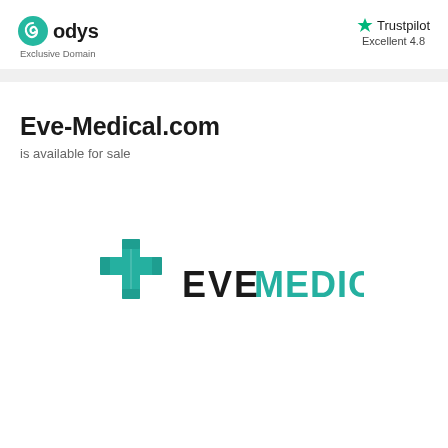[Figure (logo): Odys logo with teal swirl icon and 'odys' wordmark, subtitle 'Exclusive Domain']
[Figure (logo): Trustpilot logo with green star, text 'Trustpilot' and 'Excellent 4.8']
Eve-Medical.com
is available for sale
[Figure (logo): Eve Medical logo: teal medical cross icon on the left, 'EVE MEDICAL' text with EVE in dark/teal alternating and MEDICAL in teal]